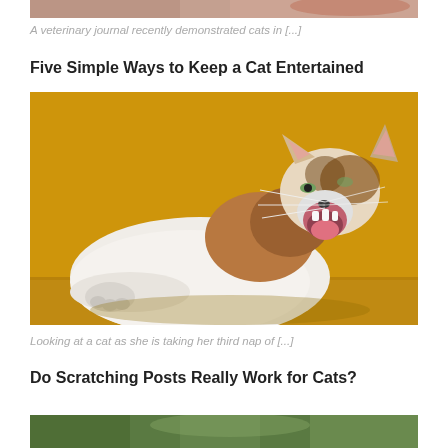[Figure (photo): Partial top crop of a cat photo, showing fur at top of page]
A veterinary journal recently demonstrated cats in [...]
Five Simple Ways to Keep a Cat Entertained
[Figure (photo): A calico/tabby cat lying on its back with mouth wide open yawning, against a golden-yellow background]
Looking at a cat as she is taking her third nap of [...]
Do Scratching Posts Really Work for Cats?
[Figure (photo): Partial bottom crop of another cat photo, showing green/natural tones]